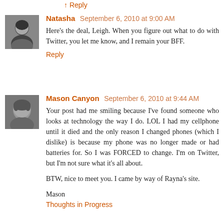↑ Reply (link at top)
Natasha  September 6, 2010 at 9:00 AM
Here's the deal, Leigh. When you figure out what to do with Twitter, you let me know, and I remain your BFF.
Reply
Mason Canyon  September 6, 2010 at 9:44 AM
Your post had me smiling because I've found someone who looks at technology the way I do. LOL I had my cellphone until it died and the only reason I changed phones (which I dislike) is because my phone was no longer made or had batteries for. So I was FORCED to change. I'm on Twitter, but I'm not sure what it's all about.

BTW, nice to meet you. I came by way of Rayna's site.

Mason
Thoughts in Progress